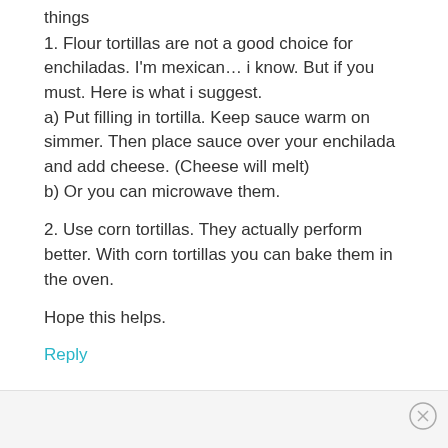things
1. Flour tortillas are not a good choice for enchiladas. I'm mexican… i know. But if you must. Here is what i suggest.
a) Put filling in tortilla. Keep sauce warm on simmer. Then place sauce over your enchilada and add cheese. (Cheese will melt)
b) Or you can microwave them.
2. Use corn tortillas. They actually perform better. With corn tortillas you can bake them in the oven.
Hope this helps.
Reply